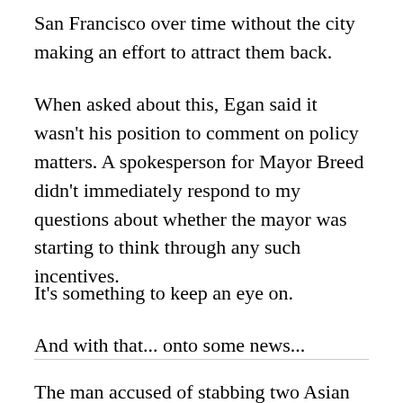San Francisco over time without the city making an effort to attract them back.
When asked about this, Egan said it wasn't his position to comment on policy matters. A spokesperson for Mayor Breed didn't immediately respond to my questions about whether the mayor was starting to think through any such incentives.
It's something to keep an eye on.
And with that... onto some news...
The man accused of stabbing two Asian